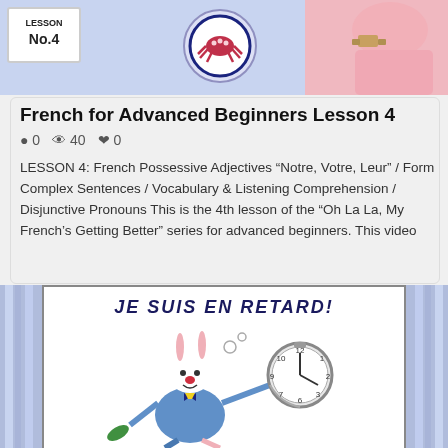[Figure (illustration): Top banner with light blue/purple background showing LESSON No.4 badge on the left, a circular logo with octopus/hand icon in the center, and a pink arm/hand image on the right]
French for Advanced Beginners Lesson 4
● 0  👁 40  ♥ 0
LESSON 4: French Possessive Adjectives "Notre, Votre, Leur" / Form Complex Sentences / Vocabulary & Listening Comprehension / Disjunctive Pronouns This is the 4th lesson of the "Oh La La, My French's Getting Better" series for advanced beginners. This video
[Figure (illustration): Illustration of a white rabbit dressed in clothes, holding a large pocket watch, with 'JE SUIS EN RETARD!' written at the top, flanked by blue curtain-like borders on each side]